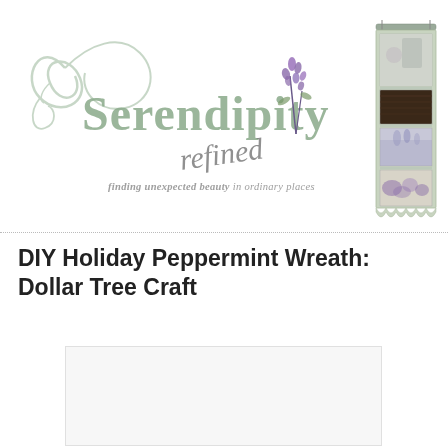[Figure (logo): Serendipity Refined blog logo with decorative script text and lavender illustration, tagline 'finding unexpected beauty in ordinary places']
[Figure (photo): Vertical banner image on right side showing collage of home decor photos in sage green frame]
DIY Holiday Peppermint Wreath: Dollar Tree Craft
[Figure (photo): Article content image placeholder (white/light gray box)]